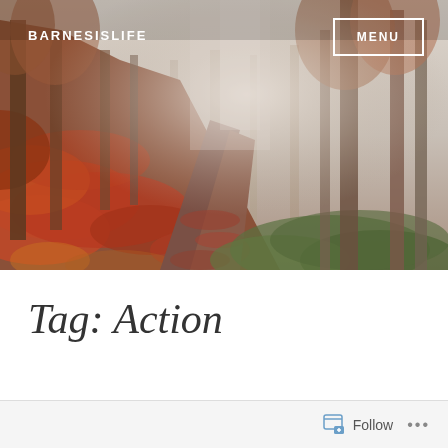[Figure (photo): Autumn forest path covered with red and orange fallen leaves, misty foggy background with bare and leafy trees, green undergrowth on hillside]
BARNESISLIFE
MENU
Tag: Action
Follow ...